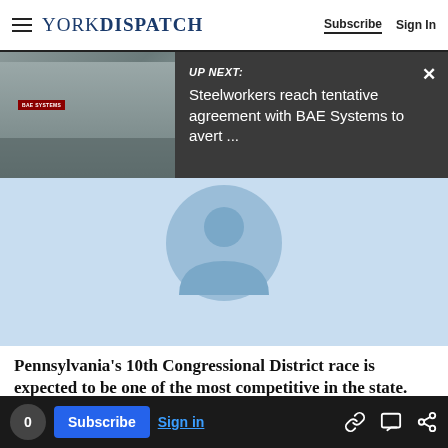YORK DISPATCH — Subscribe | Sign In
[Figure (screenshot): News website screenshot showing a 'UP NEXT' video overlay with dark background. Text reads 'UP NEXT: Steelworkers reach tentative agreement with BAE Systems to avert ...' with a close (X) button. Below the overlay is a light-blue video player placeholder with a user/avatar icon. A small photo strip on the left shows the BAE Systems building exterior.]
Pennsylvania's 10th Congressional District race is expected to be one of the most competitive in the state.
The race has been rated a toss-up by independent